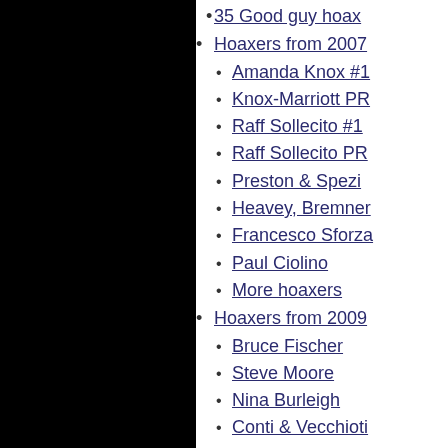35 Good guy hoax
Hoaxers from 2007
Amanda Knox #1
Knox-Marriott PR
Raff Sollecito #1
Raff Sollecito PR
Preston & Spezi
Heavey, Bremner
Francesco Sforza
Paul Ciolino
More hoaxers
Hoaxers from 2009
Bruce Fischer
Steve Moore
Nina Burleigh
Conti & Vecchioti
Saul Kassin
Elina Miettinen
Hoaxers from 2011
Amanda Knox #2
Raff Sollecito #2
Greg Hampikian
John Douglas
Peter Gill